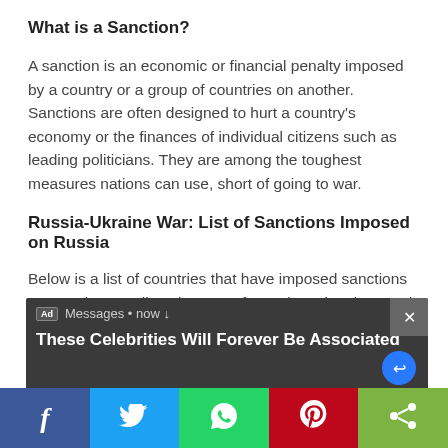What is a Sanction?
A sanction is an economic or financial penalty imposed by a country or a group of countries on another. Sanctions are often designed to hurt a country's economy or the finances of individual citizens such as leading politicians. They are among the toughest measures nations can use, short of going to war.
Russia-Ukraine War: List of Sanctions Imposed on Russia
Below is a list of countries that have imposed sanctions on Russia as well as the type of sanctions they imposed on Russia for invading Ukraine in February 2022.
[Figure (screenshot): Ad overlay notification popup with dark background showing 'Messages • now' and ad title 'These Celebrities Will Forever Be Associated' with a close button and reply icon]
[Figure (infographic): Social sharing bar at the bottom with Facebook (blue), Twitter (light blue), WhatsApp (green), Pinterest (red), and share (lime green) buttons]